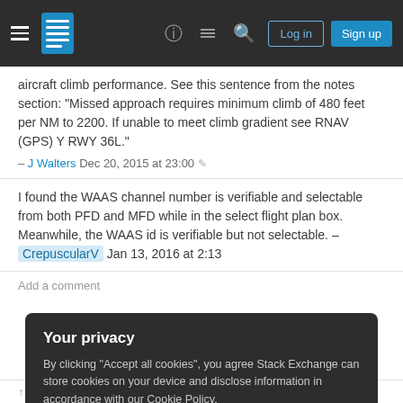Stack Exchange navigation bar with hamburger menu, logo, help, chat, search icons, Log in and Sign up buttons
aircraft climb performance. See this sentence from the notes section: "Missed approach requires minimum climb of 480 feet per NM to 2200. If unable to meet climb gradient see RNAV (GPS) Y RWY 36L." – J Walters Dec 20, 2015 at 23:00
I found the WAAS channel number is verifiable and selectable from both PFD and MFD while in the select flight plan box. Meanwhile, the WAAS id is verifiable but not selectable. – CrepuscularV Jan 13, 2016 at 2:13
Add a comment
Your privacy
By clicking "Accept all cookies", you agree Stack Exchange can store cookies on your device and disclose information in accordance with our Cookie Policy.
Accept all cookies
Customize settings
about it in the C172 G1000 manual) but even if you